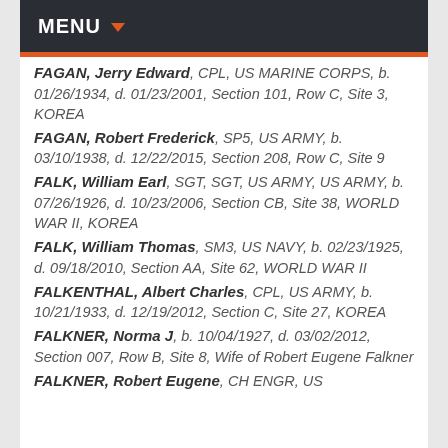MENU
FAGAN, Jerry Edward, CPL, US MARINE CORPS, b. 01/26/1934, d. 01/23/2001, Section 101, Row C, Site 3, KOREA
FAGAN, Robert Frederick, SP5, US ARMY, b. 03/10/1938, d. 12/22/2015, Section 208, Row C, Site 9
FALK, William Earl, SGT, SGT, US ARMY, US ARMY, b. 07/26/1926, d. 10/23/2006, Section CB, Site 38, WORLD WAR II, KOREA
FALK, William Thomas, SM3, US NAVY, b. 02/23/1925, d. 09/18/2010, Section AA, Site 62, WORLD WAR II
FALKENTHAL, Albert Charles, CPL, US ARMY, b. 10/21/1933, d. 12/19/2012, Section C, Site 27, KOREA
FALKNER, Norma J, b. 10/04/1927, d. 03/02/2012, Section 007, Row B, Site 8, Wife of Robert Eugene Falkner
FALKNER, Robert Eugene, CH ENGR, US